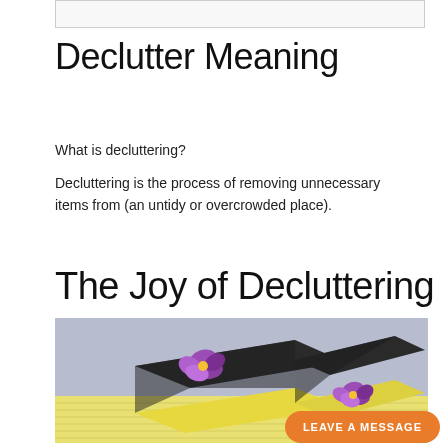[Figure (other): Top decorative image placeholder box]
Declutter Meaning
What is decluttering?
Decluttering is the process of removing unnecessary items from (an untidy or overcrowded place).
The Joy of Decluttering
[Figure (photo): Photo of black scrubbing sponges with yellow foam backing and small purple viola flowers, placed on a yellow textured cloth/towel]
LEAVE A MESSAGE